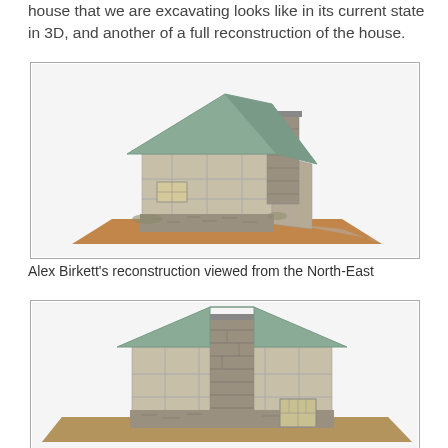house that we are excavating looks like in its current state in 3D, and another of a full reconstruction of the house.
[Figure (illustration): 3D reconstruction of a medieval timber-framed house with stone chimney, viewed from the North-East, sitting on a terracotta-coloured ground plane]
Alex Birkett's reconstruction viewed from the North-East
[Figure (illustration): 3D reconstruction of a medieval timber-framed house with stone chimney viewed from the front/south, sitting on a green and terracotta ground plane, showing a window at lower right]